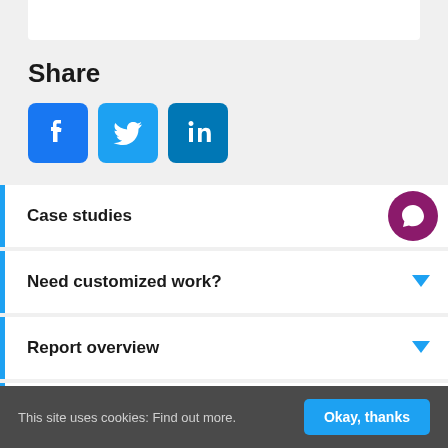[Figure (other): Social share section with Facebook, Twitter, and LinkedIn icons]
Share
Case studies
Need customized work?
Report overview
This site uses cookies: Find out more.